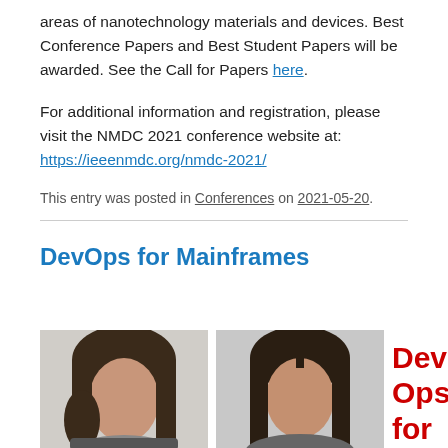areas of nanotechnology materials and devices. Best Conference Papers and Best Student Papers will be awarded. See the Call for Papers here.
For additional information and registration, please visit the NMDC 2021 conference website at: https://ieeenmdc.org/nmdc-2021/
This entry was posted in Conferences on 2021-05-20.
DevOps for Mainframes
[Figure (photo): Portrait photo of a person with long dark hair against a light background]
[Figure (photo): Portrait photo of a person with long dark hair against a gray background]
Dev Ops for